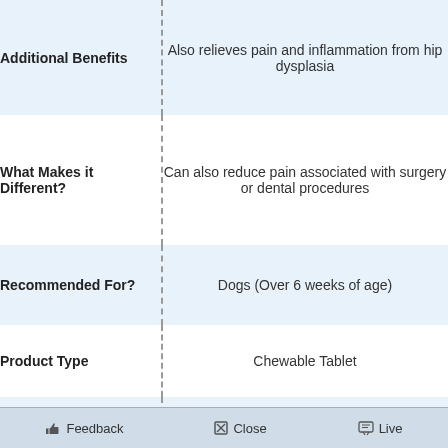| Field | Value |
| --- | --- |
| Additional Benefits | Also relieves pain and inflammation from hip dysplasia |
| What Makes it Different? | Can also reduce pain associated with surgery or dental procedures |
| Recommended For? | Dogs (Over 6 weeks of age) |
| Product Type | Chewable Tablet |
| Usage | [image of chewable tablets] |
👍 Feedback   ✖ Close   💬 Live